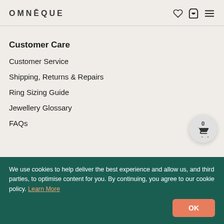OMNĒQUE
Customer Care
Customer Service
Shipping, Returns & Repairs
Ring Sizing Guide
Jewellery Glossary
FAQs
We use cookies to help deliver the best experience and allow us, and third parties, to optimise content for you. By continuing, you agree to our cookie policy. Learn More
Meet the Custom...